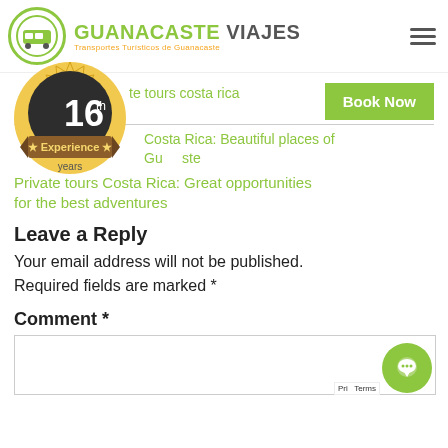GUANACASTE VIAJES Transportes Turísticos de Guanacaste
[Figure (illustration): 16th Experience years badge/seal with dark circular center, gold sunburst border, and brown ribbon banner]
private tours costa rica
Book Now
Costa Rica: Beautiful places of Guanacaste
Private tours Costa Rica: Great opportunities for the best adventures
Leave a Reply
Your email address will not be published.
Required fields are marked *
Comment *